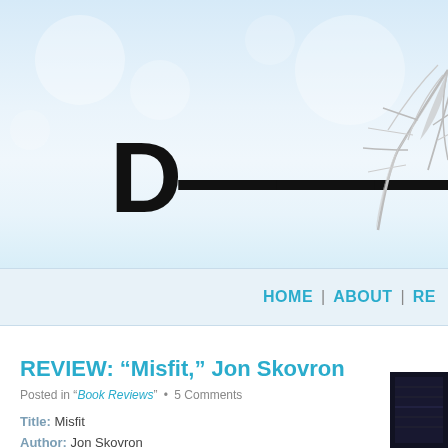[Figure (illustration): Website header banner with light blue sky background, large bold black letter 'D' and partial text, and a palm leaf illustration in the top-right corner]
HOME | ABOUT | RE
REVIEW: “Misfit,” Jon Skovron
Posted in “Book Reviews” • 5 Comments
Title: Misfit
Author: Jon Skovron